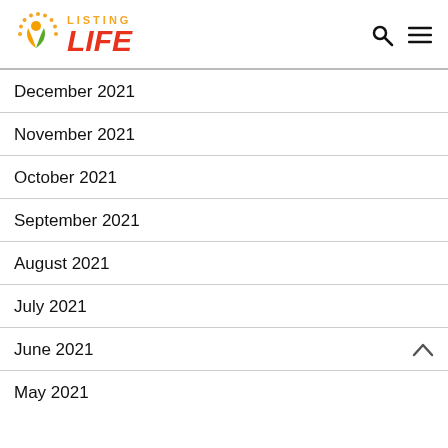Listing Life
December 2021
November 2021
October 2021
September 2021
August 2021
July 2021
June 2021
May 2021